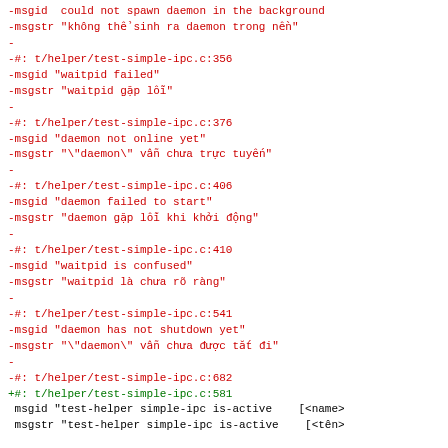-msgid  could not spawn daemon in the background
-msgstr "không thể sinh ra daemon trong nền"
-
-#: t/helper/test-simple-ipc.c:356
-msgid "waitpid failed"
-msgstr "waitpid gặp lỗi"
-
-#: t/helper/test-simple-ipc.c:376
-msgid "daemon not online yet"
-msgstr "\"daemon\" vẫn chưa trực tuyến"
-
-#: t/helper/test-simple-ipc.c:406
-msgid "daemon failed to start"
-msgstr "daemon gặp lỗi khi khởi động"
-
-#: t/helper/test-simple-ipc.c:410
-msgid "waitpid is confused"
-msgstr "waitpid là chưa rõ ràng"
-
-#: t/helper/test-simple-ipc.c:541
-msgid "daemon has not shutdown yet"
-msgstr "\"daemon\" vẫn chưa được tắt đi"
-
-#: t/helper/test-simple-ipc.c:682
+#: t/helper/test-simple-ipc.c:581
 msgid "test-helper simple-ipc is-active    [<name>
 msgstr "test-helper simple-ipc is-active    [<tên>

-#: t/helper/test-simple-ipc.c:683
+#: t/helper/test-simple-ipc.c:582